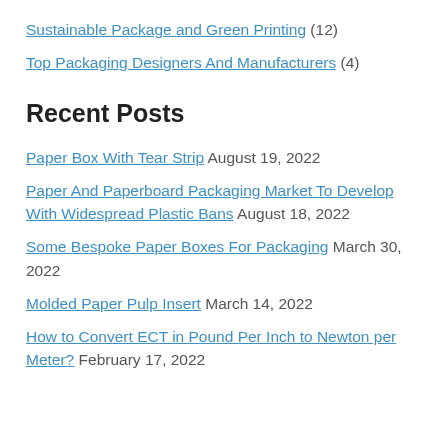Sustainable Package and Green Printing (12)
Top Packaging Designers And Manufacturers (4)
Recent Posts
Paper Box With Tear Strip August 19, 2022
Paper And Paperboard Packaging Market To Develop With Widespread Plastic Bans August 18, 2022
Some Bespoke Paper Boxes For Packaging March 30, 2022
Molded Paper Pulp Insert March 14, 2022
How to Convert ECT in Pound Per Inch to Newton per Meter? February 17, 2022